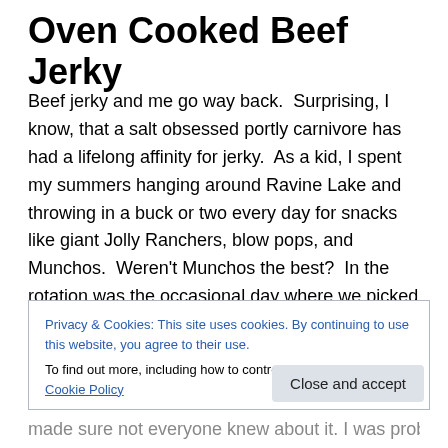Oven Cooked Beef Jerky
Beef jerky and me go way back.  Surprising, I know, that a salt obsessed portly carnivore has had a lifelong affinity for jerky.  As a kid, I spent my summers hanging around Ravine Lake and throwing in a buck or two every day for snacks like giant Jolly Ranchers, blow pops, and Munchos.  Weren't Munchos the best?  In the rotation was the occasional day where we picked through the questionable jerky selection at the Copper Kettle and every kid sat around snacking on dried meats.  I was
Privacy & Cookies: This site uses cookies. By continuing to use this website, you agree to their use.
To find out more, including how to control cookies, see here: Cookie Policy
made sure not everyone knew about it. I was probably a